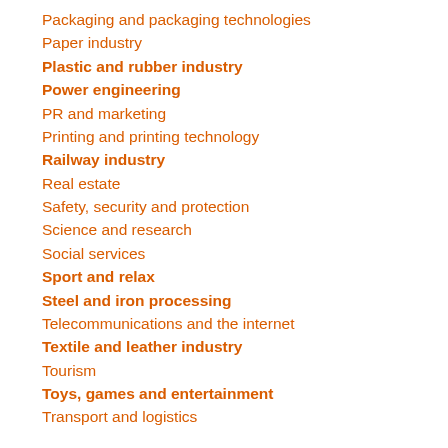Packaging and packaging technologies
Paper industry
Plastic and rubber industry
Power engineering
PR and marketing
Printing and printing technology
Railway industry
Real estate
Safety, security and protection
Science and research
Social services
Sport and relax
Steel and iron processing
Telecommunications and the internet
Textile and leather industry
Tourism
Toys, games and entertainment
Transport and logistics